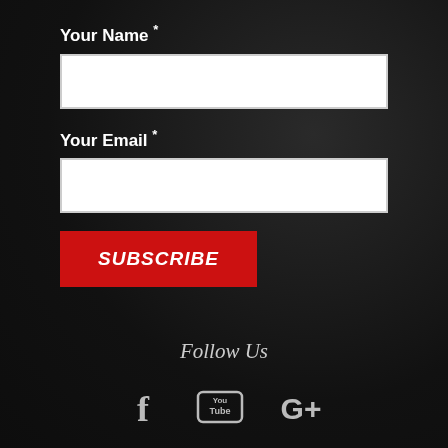Your Name *
[Figure (other): Empty white text input field for name]
Your Email *
[Figure (other): Empty white text input field for email]
SUBSCRIBE
Follow Us
[Figure (other): Social media icons: Facebook, YouTube, Google+]
Copyright © 2022 The Ultimate Trailers